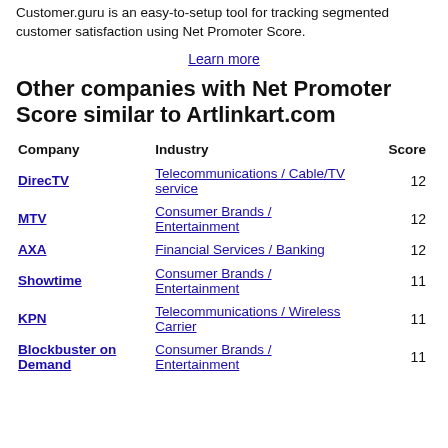Customer.guru is an easy-to-setup tool for tracking segmented customer satisfaction using Net Promoter Score.
Learn more
Other companies with Net Promoter Score similar to Artlinkart.com
| Company | Industry | Score |
| --- | --- | --- |
| DirecTV | Telecommunications / Cable/TV service | 12 |
| MTV | Consumer Brands / Entertainment | 12 |
| AXA | Financial Services / Banking | 12 |
| Showtime | Consumer Brands / Entertainment | 11 |
| KPN | Telecommunications / Wireless Carrier | 11 |
| Blockbuster on Demand | Consumer Brands / Entertainment | 11 |